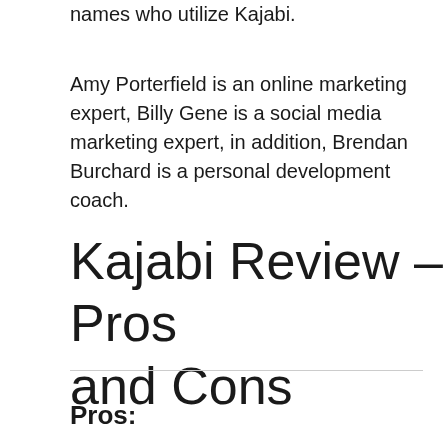names who utilize Kajabi.
Amy Porterfield is an online marketing expert, Billy Gene is a social media marketing expert, in addition, Brendan Burchard is a personal development coach.
Kajabi Review – Pros and Cons
Pros: